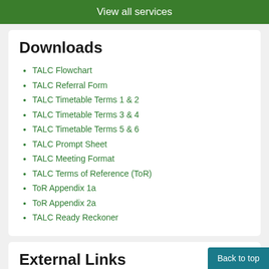View all services
Downloads
TALC Flowchart
TALC Referral Form
TALC Timetable Terms 1 & 2
TALC Timetable Terms 3 & 4
TALC Timetable Terms 5 & 6
TALC Prompt Sheet
TALC Meeting Format
TALC Terms of Reference (ToR)
ToR Appendix 1a
ToR Appendix 2a
TALC Ready Reckoner
External Links
Gloucestershire Levels of Intervention Guidance